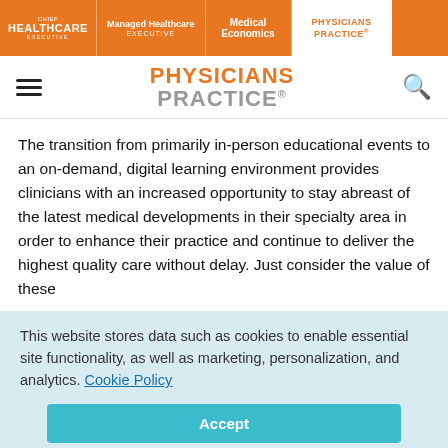HEALTHCARE EXECUTIVE | Managed Healthcare EXECUTIVE | Medical Economics | PHYSICIANS PRACTICE
[Figure (logo): Physicians Practice logo with hamburger menu and search icon]
The transition from primarily in-person educational events to an on-demand, digital learning environment provides clinicians with an increased opportunity to stay abreast of the latest medical developments in their specialty area in order to enhance their practice and continue to deliver the highest quality care without delay. Just consider the value of these
This website stores data such as cookies to enable essential site functionality, as well as marketing, personalization, and analytics. Cookie Policy
Accept
Deny